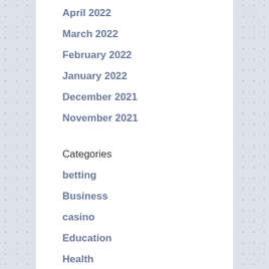April 2022
March 2022
February 2022
January 2022
December 2021
November 2021
October 2021
Categories
betting
Business
casino
Education
Health
Home
Lifestyle
Services